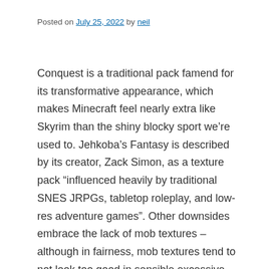Posted on July 25, 2022 by neil
Conquest is a traditional pack famend for its transformative appearance, which makes Minecraft feel nearly extra like Skyrim than the shiny blocky sport we’re used to. Jehkoba’s Fantasy is described by its creator, Zack Simon, as a texture pack “influenced heavily by traditional SNES JRPGs, tabletop roleplay, and low-res adventure games”. Other downsides embrace the lack of mob textures – although in fairness, mob textures tend to not look too good in sensible excessive decision texture packs anyway. While most packs got down to coat